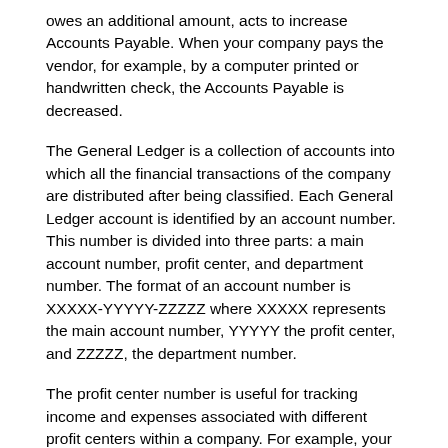owes an additional amount, acts to increase Accounts Payable. When your company pays the vendor, for example, by a computer printed or handwritten check, the Accounts Payable is decreased.
The General Ledger is a collection of accounts into which all the financial transactions of the company are distributed after being classified. Each General Ledger account is identified by an account number. This number is divided into three parts: a main account number, profit center, and department number. The format of an account number is XXXXX-YYYYY-ZZZZZ where XXXXX represents the main account number, YYYYY the profit center, and ZZZZZ, the department number.
The profit center number is useful for tracking income and expenses associated with different profit centers within a company. For example, your company might have two major divisions associated with the sale of product type A and product type B. To keep separate accounts of income and expenses associated with the two different product lines (profit centers) you could assign a profit center number of 100 to all income and expense accounts associated with product type A and a profit center number of 200 to all income and expense accounts